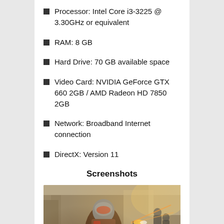Processor: Intel Core i3-3225 @ 3.30GHz or equivalent
RAM: 8 GB
Hard Drive: 70 GB available space
Video Card: NVIDIA GeForce GTX 660 2GB / AMD Radeon HD 7850 2GB
Network: Broadband Internet connection
DirectX: Version 11
Screenshots
[Figure (photo): Screenshot of a video game showing an armored soldier/guardian character in a futuristic combat environment, aiming a weapon with orange/warm lighting and other figures in the background]